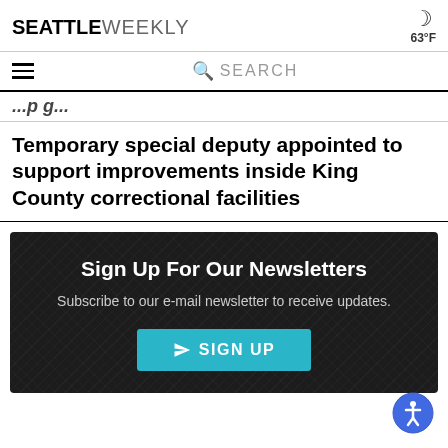SEATTLE WEEKLY | 63°F
SEARCH
Temporary special deputy appointed to support improvements inside King County correctional facilities
[Figure (infographic): Newsletter signup banner with dark background showing 'Sign Up For Our Newsletters' heading, subscription text, and a teal SIGN UP button with paper airplane icon.]
[Figure (infographic): Blue circular accessibility icon button with person/wheelchair symbol in bottom right corner.]